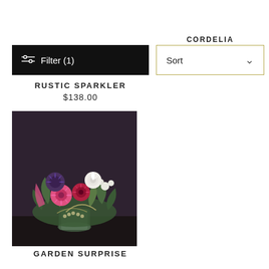CORDELIA
[Figure (screenshot): Black Filter (1) button with sliders icon]
[Figure (screenshot): Sort dropdown with gold border and chevron]
RUSTIC SPARKLER
$138.00
[Figure (photo): Flower arrangement in a glass vase with pink gerbera daisies, red flowers, white roses, and green foliage against a dark background]
GARDEN SURPRISE